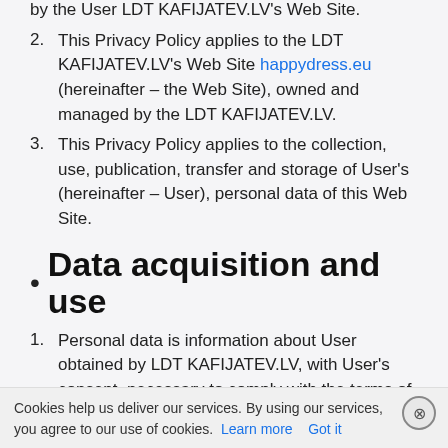by the User LDT KAFIJATEV.LV's Web Site.
2. This Privacy Policy applies to the LDT KAFIJATEV.LV's Web Site happydress.eu (hereinafter – the Web Site), owned and managed by the LDT KAFIJATEV.LV.
3. This Privacy Policy applies to the collection, use, publication, transfer and storage of User's (hereinafter – User), personal data of this Web Site.
Data acquisition and use
1. Personal data is information about User obtained by LDT KAFIJATEV.LV, with User's consent, necessary to comply with the terms of
Cookies help us deliver our services. By using our services, you agree to our use of cookies. Learn more  Got it